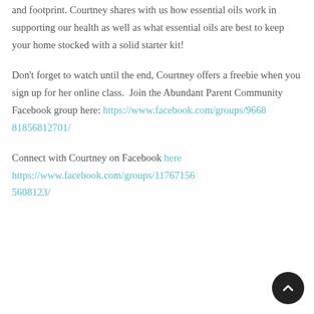and footprint. Courtney shares with us how essential oils work in supporting our health as well as what essential oils are best to keep your home stocked with a solid starter kit!
Don't forget to watch until the end, Courtney offers a freebie when you sign up for her online class.  Join the Abundant Parent Community Facebook group here: https://www.facebook.com/groups/966881856812701/
Connect with Courtney on Facebook here https://www.facebook.com/groups/117671565608123/